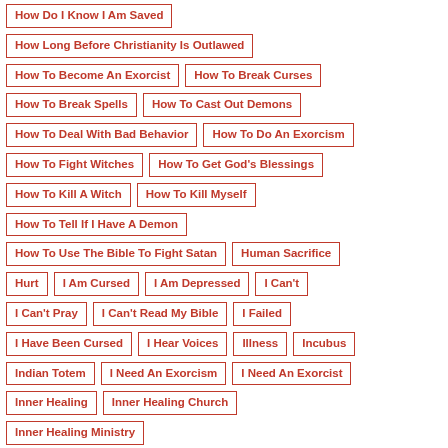How Do I Know I Am Saved
How Long Before Christianity Is Outlawed
How To Become An Exorcist
How To Break Curses
How To Break Spells
How To Cast Out Demons
How To Deal With Bad Behavior
How To Do An Exorcism
How To Fight Witches
How To Get God's Blessings
How To Kill A Witch
How To Kill Myself
How To Tell If I Have A Demon
How To Use The Bible To Fight Satan
Human Sacrifice
Hurt
I Am Cursed
I Am Depressed
I Can't
I Can't Pray
I Can't Read My Bible
I Failed
I Have Been Cursed
I Hear Voices
Illness
Incubus
Indian Totem
I Need An Exorcism
I Need An Exorcist
Inner Healing
Inner Healing Church
Inner Healing Ministry